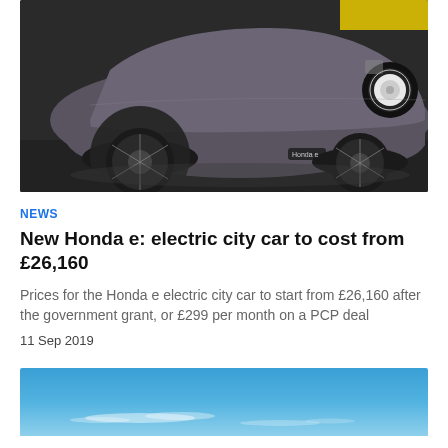[Figure (photo): Honda e electric car shown from rear three-quarter view, dark grey color, on a dark studio/showroom floor background. The car has a distinctive round rear light design and Honda logo visible.]
NEWS
New Honda e: electric city car to cost from £26,160
Prices for the Honda e electric city car to start from £26,160 after the government grant, or £299 per month on a PCP deal
11 Sep 2019
[Figure (photo): Blue sky with some light wispy clouds, partial view at bottom of page.]